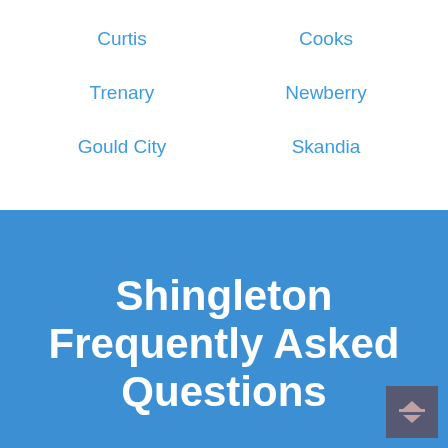Curtis
Cooks
Trenary
Newberry
Gould City
Skandia
Shingleton Frequently Asked Questions